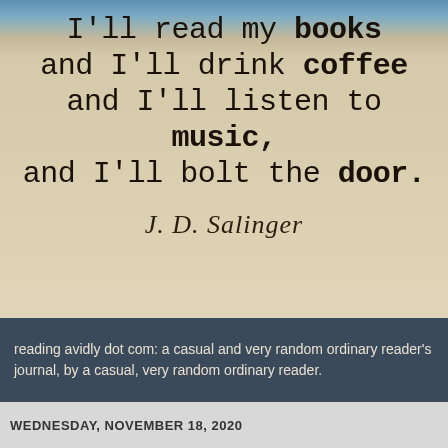[Figure (illustration): Aged parchment-style background with blue sky at top, containing a J.D. Salinger quote in mixed weight monospace font with a handwritten-style signature below.]
I'll read my books and I'll drink coffee and I'll listen to music, and I'll bolt the door. — J.D. Salinger
reading avidly dot com: a casual and very random ordinary reader's journal, by a casual, very random ordinary reader.
WEDNESDAY, NOVEMBER 18, 2020